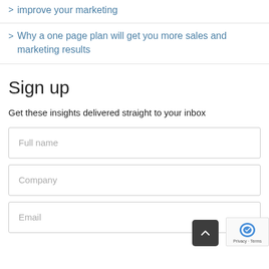improve your marketing
Why a one page plan will get you more sales and marketing results
Sign up
Get these insights delivered straight to your inbox
Full name
Company
Email